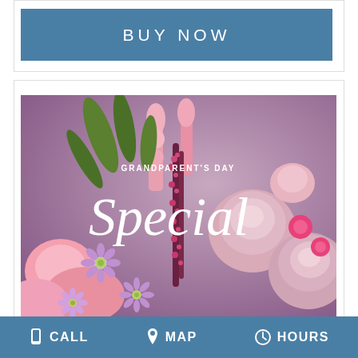[Figure (other): Blue 'BUY NOW' button]
[Figure (photo): Grandparent's Day Special flower arrangement with pink roses, purple daisies, and pink snapdragons on a lavender background with decorative text overlay reading 'GRANDPARENT'S DAY Special']
CALL   MAP   HOURS